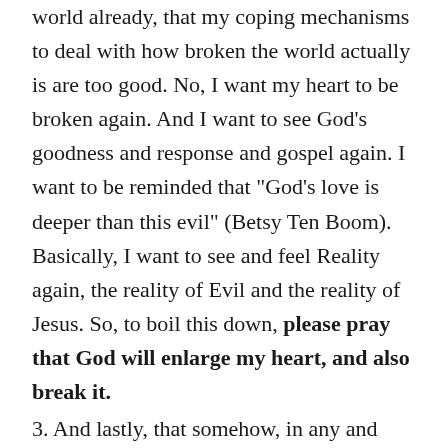world already, that my coping mechanisms to deal with how broken the world actually is are too good. No, I want my heart to be broken again. And I want to see God's goodness and response and gospel again. I want to be reminded that “God’s love is deeper than this evil” (Betsy Ten Boom). Basically, I want to see and feel Reality again, the reality of Evil and the reality of Jesus. So, to boil this down, please pray that God will enlarge my heart, and also break it.
3. And lastly, that somehow, in any and